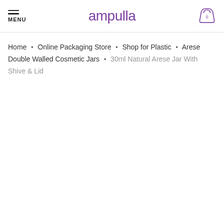MENU | Ampulla | Cart (0)
Home • Online Packaging Store • Shop for Plastic • Arese Double Walled Cosmetic Jars • 30ml Natural Arese Jar With Shive & Lid